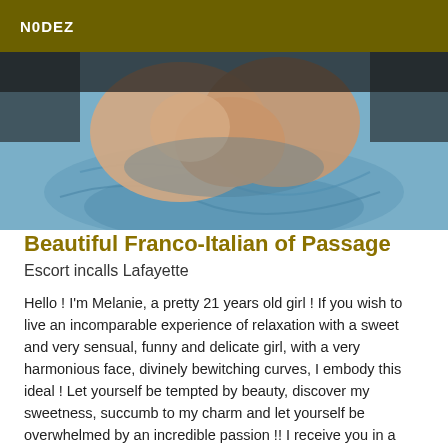N0DEZ
[Figure (photo): Close-up photo of legs/feet on blue fabric surface]
Beautiful Franco-Italian of Passage
Escort incalls Lafayette
Hello ! I'm Melanie, a pretty 21 years old girl ! If you wish to live an incomparable experience of relaxation with a sweet and very sensual, funny and delicate girl, with a very harmonious face, divinely bewitching curves, I embody this ideal ! Let yourself be tempted by beauty, discover my sweetness, succumb to my charm and let yourself be overwhelmed by an incredible passion !! I receive you in a private apartment and, of course, the photos are perfectly authentic, without any retouch ! I'm passing through for a few days, please contact me the